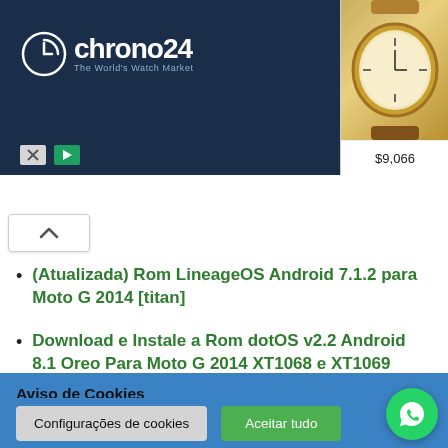[Figure (screenshot): Chrono24 watch advertisement banner showing logo on dark blue background and four luxury watch images with prices: $9,066, $23,600, $21,700, $19,695]
(Atualizada) Rom LineageOS Android 7.1.2 para Moto G 2014 [titan]
Download e Instale a Rom dotOS v2.2 Android 8.1 Oreo Para Moto G 2014 XT1068 e XT1069 [Titan]
Aviso de Cookies
Usamos cookies em nosso site para oferecer a você a experiência mais relevante, lembrando suas preferências. Ao clicar em "Aceitar tudo", você concorda com o uso de TODOS os cookies. .
Configurações de cookies  |  Aceitar tudo